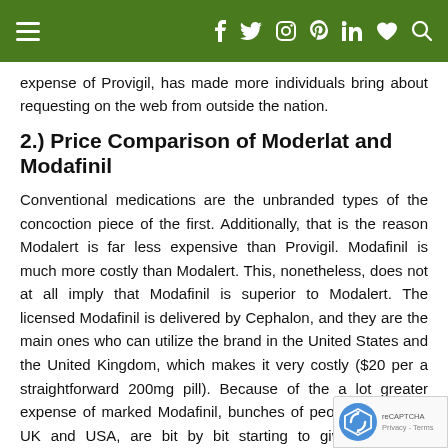Navigation bar with hamburger menu, social icons (f, twitter, instagram, pinterest, linkedin, heart, search)
expense of Provigil, has made more individuals bring about requesting on the web from outside the nation.
2.) Price Comparison of Moderlat and Modafinil
Conventional medications are the unbranded types of the concoction piece of the first. Additionally, that is the reason Modalert is far less expensive than Provigil. Modafinil is much more costly than Modalert. This, nonetheless, does not at all imply that Modafinil is superior to Modalert. The licensed Modafinil is delivered by Cephalon, and they are the main ones who can utilize the brand in the United States and the United Kingdom, which makes it very costly ($20 per a straightforward 200mg pill). Because of the a lot greater expense of marked Modafinil, bunches of people in like the UK and USA, are bit by bit starting to give regard for Modalert which is a lot less expensive than